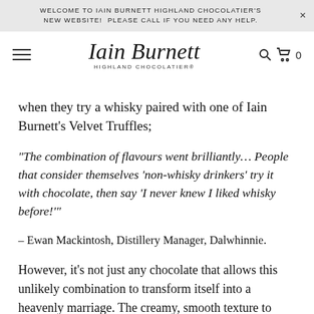WELCOME TO IAIN BURNETT HIGHLAND CHOCOLATIER'S NEW WEBSITE!  PLEASE CALL IF YOU NEED ANY HELP.
[Figure (logo): Iain Burnett Highland Chocolatier logo with hamburger menu, cursive script logotype, search icon, and cart icon showing 0]
when they try a whisky paired with one of Iain Burnett's Velvet Truffles;
“The combination of flavours went brilliantly… People that consider themselves ‘non-whisky drinkers’ try it with chocolate, then say ‘I never knew I liked whisky before!’”
– Ewan Mackintosh, Distillery Manager, Dalwhinnie.
However, it’s not just any chocolate that allows this unlikely combination to transform itself into a heavenly marriage. The creamy, smooth texture to Iain’s Velvet Truffles allows the whisky to glide down your palate,